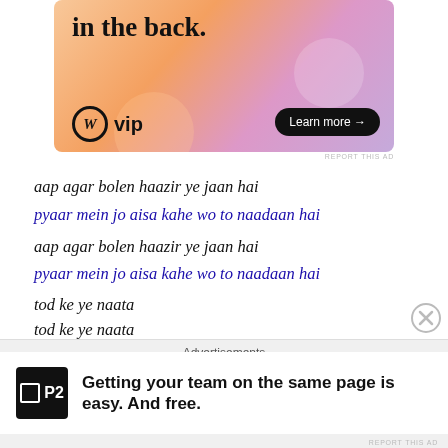[Figure (screenshot): WordPress VIP advertisement banner with orange/pink gradient background. Text 'in the back.' at top. WordPress logo (W in circle) followed by 'vip' text. Black pill-shaped 'Learn more →' button on right.]
REPORT THIS AD
aap agar bolen haazir ye jaan hai
pyaar mein jo aisa kahe wo to naadaan hai
aap agar bolen haazir ye jaan hai
pyaar mein jo aisa kahe wo to naadaan hai
tod ke ye naata
tod ke ye naata
jo aur se main jod doon
aisa nahin hoon aji main aisa nahin hoon
aisa nahin hoon aji main aisa nahin hoon
Advertisements
[Figure (screenshot): P2 advertisement. P2 logo (black square with P2 text). Bold text: 'Getting your team on the same page is easy. And free.']
REPORT THIS AD